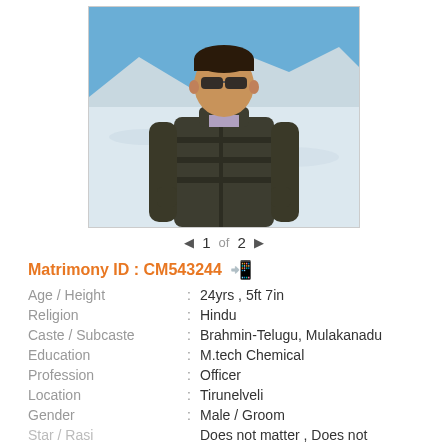[Figure (photo): Man wearing sunglasses and a dark jacket, standing outdoors in a snowy/icy landscape with blue sky and snow-capped mountains in the background.]
◄  1  of  2  ►
Matrimony ID : CM543244 📱
| Age / Height | : | 24yrs , 5ft 7in |
| Religion | : | Hindu |
| Caste / Subcaste | : | Brahmin-Telugu, Mulakanadu |
| Education | : | M.tech Chemical |
| Profession | : | Officer |
| Location | : | Tirunelveli |
| Gender | : | Male / Groom |
| Star / Rasi | : | Does not matter , Does not |